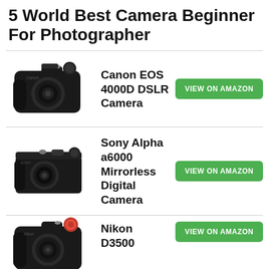5 World Best Camera Beginner For Photographer
Canon EOS 4000D DSLR Camera
Sony Alpha a6000 Mirrorless Digital Camera
Nikon D3500